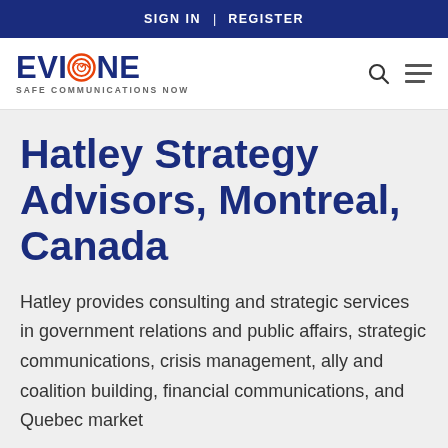SIGN IN | REGISTER
[Figure (logo): Evizone logo with spiral graphic and tagline 'SAFE COMMUNICATIONS NOW']
Hatley Strategy Advisors, Montreal, Canada
Hatley provides consulting and strategic services in government relations and public affairs, strategic communications, crisis management, ally and coalition building, financial communications, and Quebec market